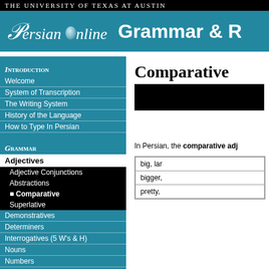THE UNIVERSITY OF TEXAS AT AUSTIN
[Figure (logo): Persian Online Grammar & R header logo on teal background]
INTRODUCTION
Welcome
System of Transcription
The Writing System
History of the Language
How to Type In Persian
GRAMMAR
Adjectives
Adjective Conjunctions
Abstractions
Comparative
Superlative
Demonstratives
Determiners
Interrogatives (5 W's & H)
Nouns
Numbers
Persian-Specific Grammar
Phonology
Comparative
In Persian, the comparative adj
| big, lar |
| bigger, |
| pretty, |